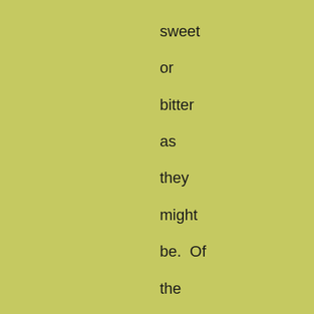sweet
or
bitter
as
they
might
be.  Of
the
asceticism
that
deadens
the
senses,
as    of
the
vulgar
profligacy
that
dulls